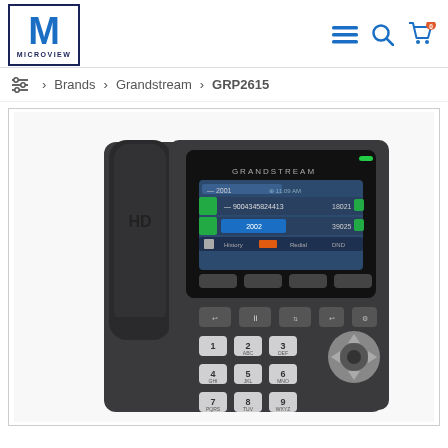[Figure (logo): Microview logo: large blue M letter on white background inside a dark navy border, with MICROVIEW text below]
[Figure (infographic): Header navigation icons: hamburger menu, search magnifier, and shopping cart with orange badge showing 0]
≡ > Brands > Grandstream > GRP2615
[Figure (photo): Grandstream GRP2615 HD IP desk phone in dark grey/black, showing handset with HD label, color LCD screen displaying GRANDSTREAM interface with line keys, and keypad with numeric buttons 1-9 and navigation wheel]